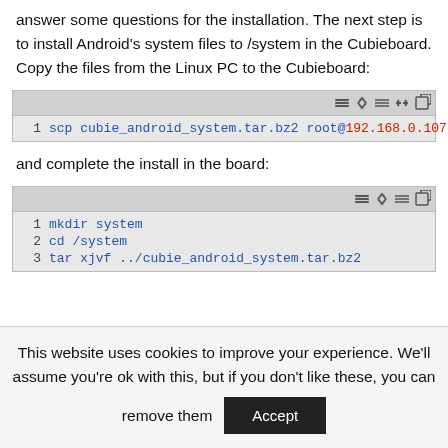answer some questions for the installation. The next step is to install Android's system files to /system in the Cubieboard. Copy the files from the Linux PC to the Cubieboard:
[Figure (screenshot): Code block showing: 1  scp cubie_android_system.tar.bz2 root@192.168.0.107:]
and complete the install in the board:
[Figure (screenshot): Code block showing: 1  mkdir system  2  cd /system  3  tar xjvf ../cubie_android_system.tar.bz2]
This website uses cookies to improve your experience. We'll assume you're ok with this, but if you don't like these, you can remove them  Accept